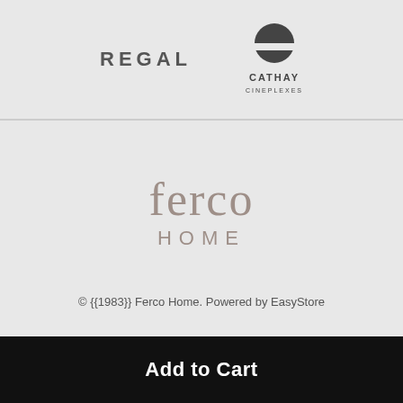[Figure (logo): REGAL text logo in dark gray uppercase with wide letter spacing]
[Figure (logo): Cathay Cineplexes logo with dark semicircle on top and text below]
[Figure (logo): Ferco Home logo in muted brown/taupe — 'ferco' in large serif lowercase and 'HOME' in spaced uppercase sans-serif]
© {{1983}} Ferco Home. Powered by EasyStore
Add to Cart